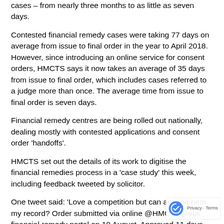cases – from nearly three months to as little as seven days.
Contested financial remedy cases were taking 77 days on average from issue to final order in the year to April 2018. However, since introducing an online service for consent orders, HMCTS says it now takes an average of 35 days from issue to final order, which includes cases referred to a judge more than once. The average time from issue to final order is seven days.
Financial remedy centres are being rolled out nationally, dealing mostly with contested applications and consent order 'handoffs'.
HMCTS set out the details of its work to digitise the financial remedies process in a 'case study' this week, including feedback tweeted by solicitor.
One tweet said: 'Love a competition but can anyone beat my record? Order submitted via online @HMCTSgovuk financial remedy portal on 19 August. Approved 11 days later. thank you @ResFamilyLaw thank you HMCTS.'
As the said it is to contested...